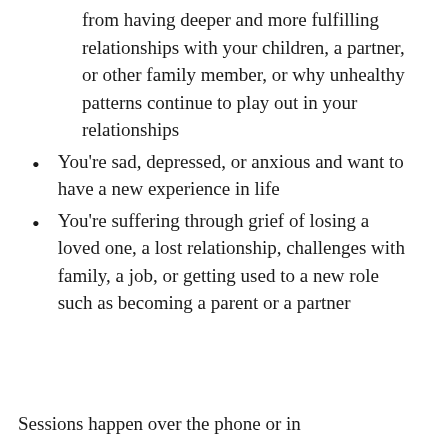from having deeper and more fulfilling relationships with your children, a partner, or other family member, or why unhealthy patterns continue to play out in your relationships
You’re sad, depressed, or anxious and want to have a new experience in life
You’re suffering through grief of losing a loved one, a lost relationship, challenges with family, a job, or getting used to a new role such as becoming a parent or a partner
Sessions happen over the phone or in